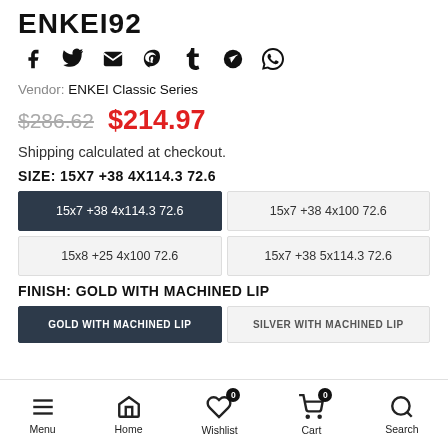ENKEI92
[Figure (other): Social sharing icons: Facebook, Twitter, Email, Pinterest, Tumblr, Telegram, WhatsApp]
Vendor: ENKEI Classic Series
$286.62  $214.97
Shipping calculated at checkout.
SIZE: 15X7 +38 4X114.3 72.6
15x7 +38 4x114.3 72.6 | 15x7 +38 4x100 72.6 | 15x8 +25 4x100 72.6 | 15x7 +38 5x114.3 72.6
FINISH: GOLD WITH MACHINED LIP
GOLD WITH MACHINED LIP | SILVER WITH MACHINED LIP
Menu  Home  Wishlist 0  Cart 0  Search